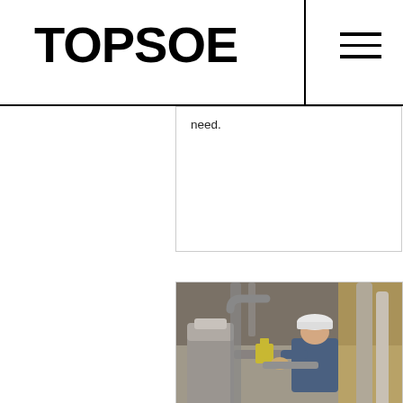TOPSOE
need.
[Figure (photo): Industrial worker in blue uniform and white hard hat examining equipment in a chemical/process plant with pipes, valves, and industrial machinery.]
Plant Start-up
A Topsoe Plant Start-up training course will help you prepare and execute your start-ups more